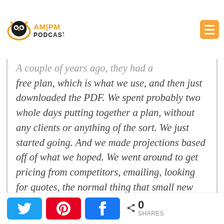AM|PM Podcast
A couple of years ago, they had a free plan, which is what we use, and then just downloaded the PDF. We spent probably two whole days putting together a plan, without any clients or anything of the sort. We just started going. And we made projections based off of what we hoped. We went around to get pricing from competitors, emailing, looking for quotes, the normal thing that small new businesses do.
Share buttons: Twitter, Pinterest, Facebook. 0 SHARES